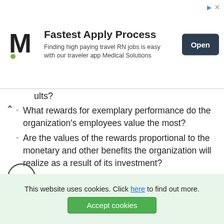[Figure (other): Advertisement banner: M logo (Medical Solutions), text 'Fastest Apply Process - Finding high paying travel RN jobs is easy with our traveler app Medical Solutions', and an 'Open' button]
ults?
What rewards for exemplary performance do the organization's employees value the most?
Are the values of the rewards proportional to the monetary and other benefits the organization will realize as a result of its investment?
What criteria will be used for determining whether performance merits a reward? What are the conditions of the reward decisionmaking process?
What is the timeline for designing, developing, implementing, and evaluating the competency-based employee reward process?
This website uses cookies. Click here to find out more. Accept cookies